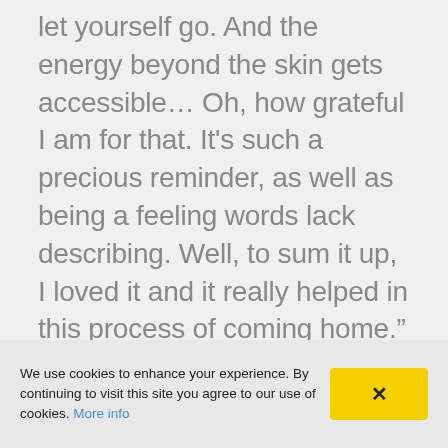let yourself go. And the energy beyond the skin gets accessible… Oh, how grateful I am for that. It's such a precious reminder, as well as being a feeling words lack describing. Well, to sum it up, I loved it and it really helped in this process of coming home."
We use cookies to enhance your experience. By continuing to visit this site you agree to our use of cookies. More info